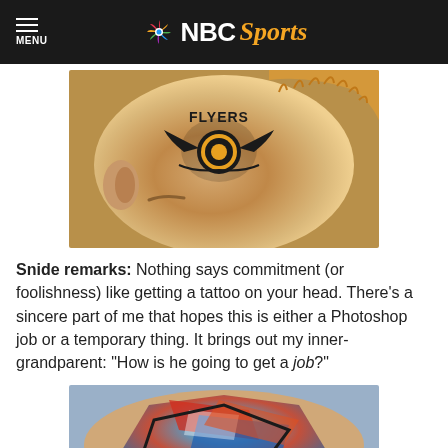MENU | NBC Sports
[Figure (photo): Close-up of a person's shaved head with a Philadelphia Flyers tattoo, showing the team logo and 'FLYERS' text. The person has reddish-blonde hair on top.]
Snide remarks: Nothing says commitment (or foolishness) like getting a tattoo on your head. There’s a sincere part of me that hopes this is either a Photoshop job or a temporary thing. It brings out my inner-grandparent: “How is he going to get a job?”
[Figure (photo): Close-up of a colorful sports-related tattoo on someone's body, showing a stylized logo with red, blue, and white colors.]